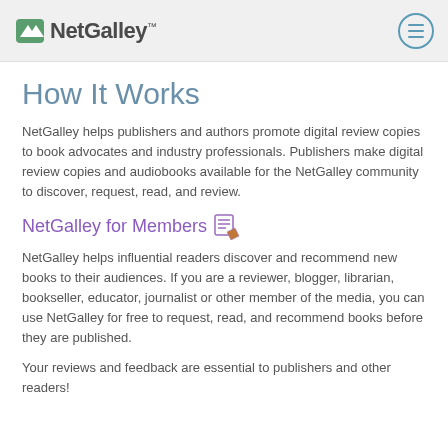NetGalley
How It Works
NetGalley helps publishers and authors promote digital review copies to book advocates and industry professionals. Publishers make digital review copies and audiobooks available for the NetGalley community to discover, request, read, and review.
NetGalley for Members
NetGalley helps influential readers discover and recommend new books to their audiences. If you are a reviewer, blogger, librarian, bookseller, educator, journalist or other member of the media, you can use NetGalley for free to request, read, and recommend books before they are published.
Your reviews and feedback are essential to publishers and other readers!